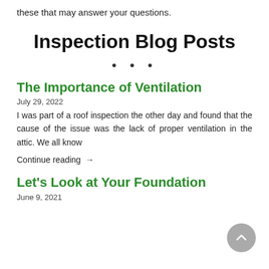these that may answer your questions.
Inspection Blog Posts
• • •
The Importance of Ventilation
July 29, 2022
I was part of a roof inspection the other day and found that the cause of the issue was the lack of proper ventilation in the attic. We all know
Continue reading →
Let's Look at Your Foundation
June 9, 2021